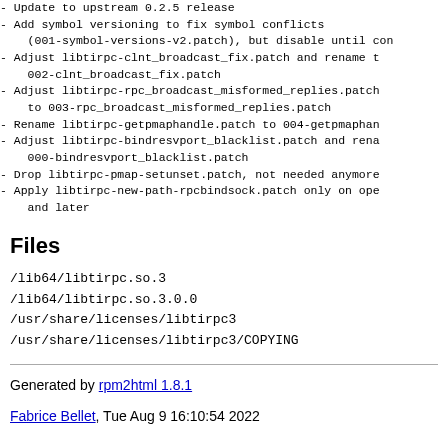- Update to upstream 0.2.5 release
- Add symbol versioning to fix symbol conflicts
    (001-symbol-versions-v2.patch), but disable until con
- Adjust libtirpc-clnt_broadcast_fix.patch and rename t
    002-clnt_broadcast_fix.patch
- Adjust libtirpc-rpc_broadcast_misformed_replies.patch
    to 003-rpc_broadcast_misformed_replies.patch
- Rename libtirpc-getpmaphandle.patch to 004-getpmaphan
- Adjust libtirpc-bindresvport_blacklist.patch and rena
    000-bindresvport_blacklist.patch
- Drop libtirpc-pmap-setunset.patch, not needed anymore
- Apply libtirpc-new-path-rpcbindsock.patch only on ope
    and later
Files
/lib64/libtirpc.so.3
/lib64/libtirpc.so.3.0.0
/usr/share/licenses/libtirpc3
/usr/share/licenses/libtirpc3/COPYING
Generated by rpm2html 1.8.1
Fabrice Bellet, Tue Aug 9 16:10:54 2022